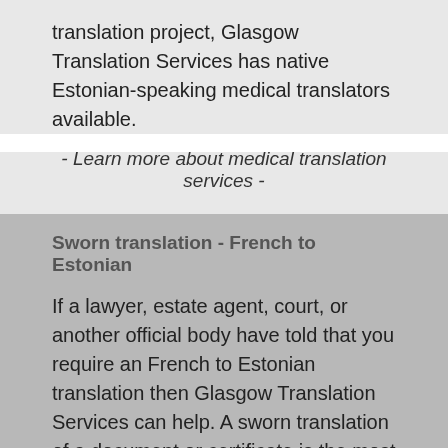translation project, Glasgow Translation Services has native Estonian-speaking medical translators available.
- Learn more about medical translation services -
Sworn translation - French to Estonian
If a lawyer, estate agent, court, or another official body have told that you require an French to Estonian translation then Glasgow Translation Services can help. A sworn translation of a document or certificate is the most official translation possible and Glasgow Translation Services has qualified and experienced French to Estonian sworn translators in Glasgow who work in partnership with notary publics and the foreign office (as and when needed).